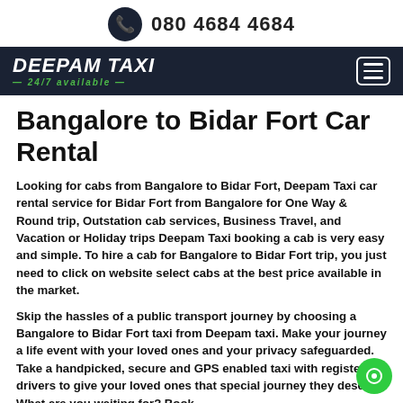080 4684 4684
[Figure (logo): Deepam Taxi logo with 24/7 available tagline on dark navy background, with hamburger menu icon]
Bangalore to Bidar Fort Car Rental
Looking for cabs from Bangalore to Bidar Fort, Deepam Taxi car rental service for Bidar Fort from Bangalore for One Way & Round trip, Outstation cab services, Business Travel, and Vacation or Holiday trips Deepam Taxi booking a cab is very easy and simple. To hire a cab for Bangalore to Bidar Fort trip, you just need to click on website select cabs at the best price available in the market.
Skip the hassles of a public transport journey by choosing a Bangalore to Bidar Fort taxi from Deepam taxi. Make your journey a life event with your loved ones and your privacy safeguarded. Take a handpicked, secure and GPS enabled taxi with registered drivers to give your loved ones that special journey they deserve. What are you waiting for? Book